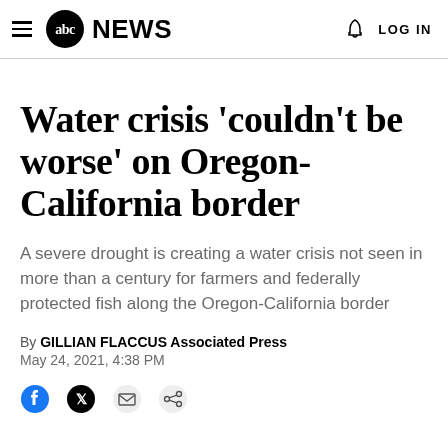abc NEWS — LOG IN
Water crisis 'couldn't be worse' on Oregon-California border
A severe drought is creating a water crisis not seen in more than a century for farmers and federally protected fish along the Oregon-California border
By GILLIAN FLACCUS Associated Press
May 24, 2021, 4:38 PM